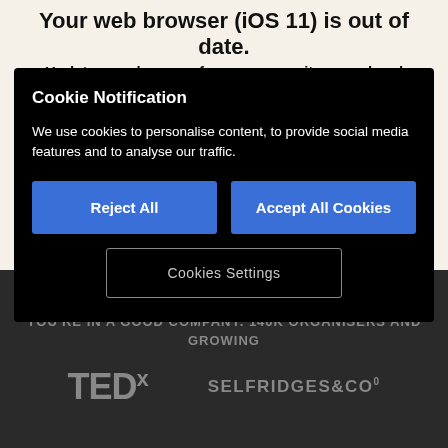Your web browser (iOS 11) is out of date.
Update your browser for more security, speed and
Cookie Notification
We use cookies to personalise content, to provide social media features and to analyse our traffic.
Reject All
Accept All Cookies
Cookies Settings
YOU'RE IN A GOOD COMPANY. 140K ORGANISERS AND GROWING
[Figure (logo): TEDx logo in grey]
[Figure (logo): Selfridges & Co logo in grey]